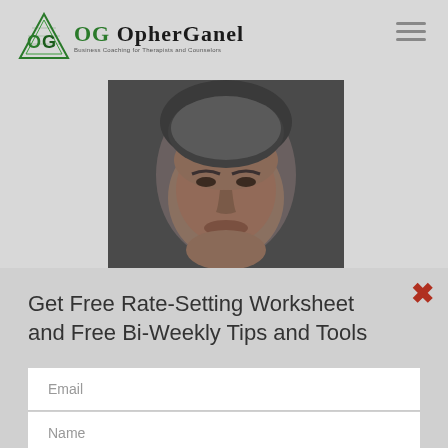[Figure (logo): OG OpherGanel logo with green triangle/diamond graphic and text 'Business Coaching for Therapists and Counselors']
[Figure (photo): Headshot of a middle-aged man with gray hair against a dark background, cropped to show head and upper face]
Get Free Rate-Setting Worksheet and Free Bi-Weekly Tips and Tools
Email
Name